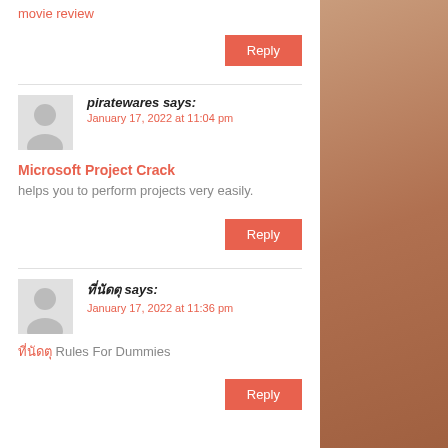movie review
Reply
piratewares says:
January 17, 2022 at 11:04 pm
Microsoft Project Crack helps you to perform projects very easily.
Reply
ที่นัดตุ says:
January 17, 2022 at 11:36 pm
ที่นัดตุ Rules For Dummies
Reply